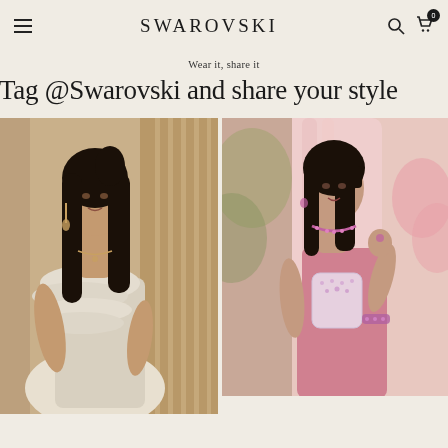SWAROVSKI — navigation bar with hamburger menu, search, and cart icons
Wear it, share it
Tag @Swarovski and share your style
[Figure (photo): Woman in white ruffled off-shoulder dress, long dark hair, wearing Swarovski earrings and necklace, posing against a warm neutral wall]
[Figure (photo): Woman in pink dress holding a crystal-embellished bag, wearing Swarovski choker necklace and bracelet, in an outdoor garden setting with pink curtains]